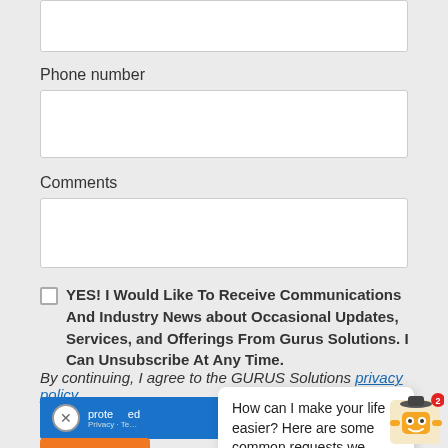[Figure (screenshot): Top input box (partial, cropped at top)]
Phone number
[Figure (screenshot): Phone number input field (empty text box)]
Comments
[Figure (screenshot): Comments input field (empty text box)]
YES! I Would Like To Receive Communications And Industry News about Occasional Updates, Services, and Offerings From Gurus Solutions. I Can Unsubscribe At Any Time.
By continuing, I agree to the GURUS Solutions privacy policy.
[Figure (screenshot): reCAPTCHA widget (blue bar with X circle and Privacy - Terms text)]
How can I make your life easier? Here are some common requests we usually get!